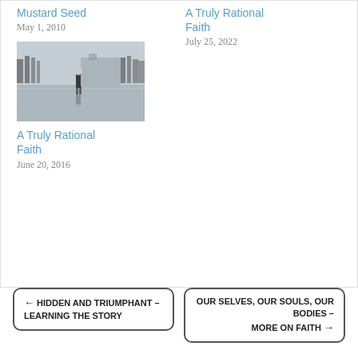Mustard Seed
May 1, 2010
A Truly Rational Faith
July 25, 2022
[Figure (photo): Person standing in shallow water with trees and a building in the misty background, reflected in the still water]
A Truly Rational Faith
June 20, 2016
← HIDDEN AND TRIUMPHANT – LEARNING THE STORY
OUR SELVES, OUR SOULS, OUR BODIES – MORE ON FAITH →